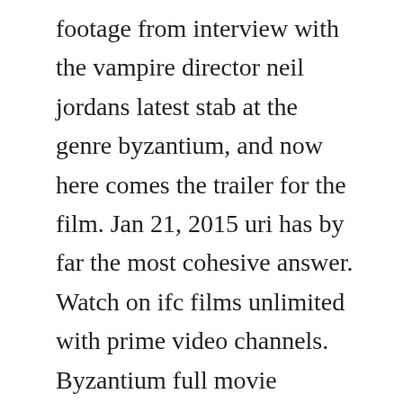footage from interview with the vampire director neil jordans latest stab at the genre byzantium, and now here comes the trailer for the film. Jan 21, 2015 uri has by far the most cohesive answer. Watch on ifc films unlimited with prime video channels. Byzantium full movie subtitled in portuguese byzantium filme completo com legendas em portugues watch byzantium in hd 1080p, watch byzantium in hd, watch byzantium online, byzantium full movie, watch byzantium full movie free online streaming. Byzantium international trailer 2 20 saoirse ronan. There